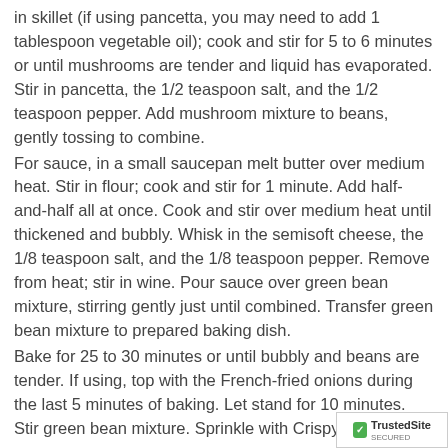in skillet (if using pancetta, you may need to add 1 tablespoon vegetable oil); cook and stir for 5 to 6 minutes or until mushrooms are tender and liquid has evaporated. Stir in pancetta, the 1/2 teaspoon salt, and the 1/2 teaspoon pepper. Add mushroom mixture to beans, gently tossing to combine.
For sauce, in a small saucepan melt butter over medium heat. Stir in flour; cook and stir for 1 minute. Add half-and-half all at once. Cook and stir over medium heat until thickened and bubbly. Whisk in the semisoft cheese, the 1/8 teaspoon salt, and the 1/8 teaspoon pepper. Remove from heat; stir in wine. Pour sauce over green bean mixture, stirring gently just until combined. Transfer green bean mixture to prepared baking dish.
Bake for 25 to 30 minutes or until bubbly and beans are tender. If using, top with the French-fried onions during the last 5 minutes of baking. Let stand for 10 minutes. Stir green bean mixture. Sprinkle with Crispy Shallots.
Crispy Shallots
If desired, preheat oven to 375 degrees . In a small saucepan heat oil over medium-high heat. Dip a small handful of sliced shallots in milk, letting excess d